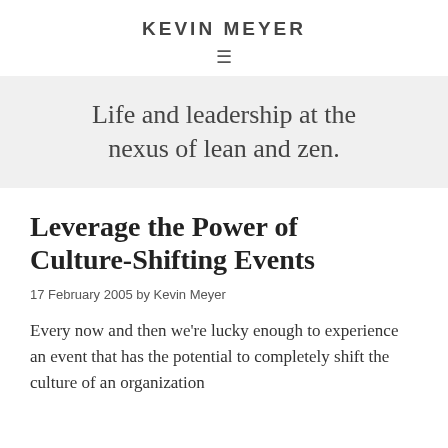KEVIN MEYER
Life and leadership at the nexus of lean and zen.
Leverage the Power of Culture-Shifting Events
17 February 2005 by Kevin Meyer
Every now and then we're lucky enough to experience an event that has the potential to completely shift the culture of an organization